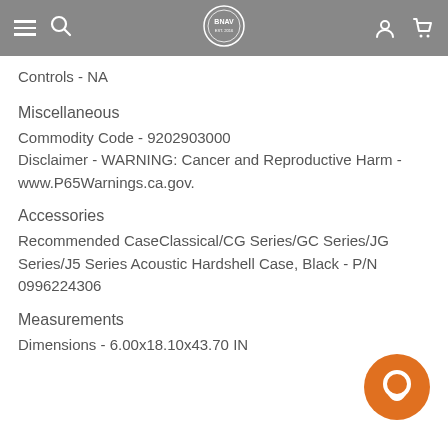BNAV header with navigation icons
Controls - NA
Miscellaneous
Commodity Code - 9202903000
Disclaimer - WARNING: Cancer and Reproductive Harm - www.P65Warnings.ca.gov.
Accessories
Recommended CaseClassical/CG Series/GC Series/JG Series/J5 Series Acoustic Hardshell Case, Black - P/N 0996224306
Measurements
Dimensions - 6.00x18.10x43.70 IN